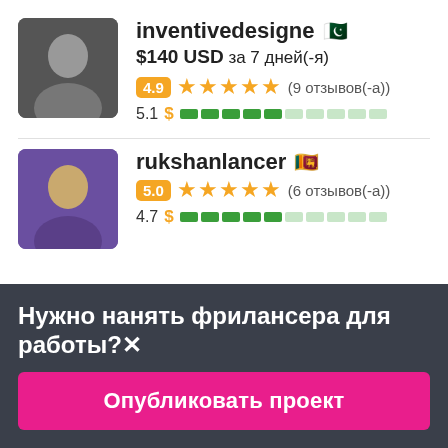inventivedesigne 🇵🇰
$140 USD за 7 дней(-я)
4.9 ★★★★★ (9 отзывов(-а))
5.1
rukshanlancer 🇱🇰
5.0 ★★★★★ (6 отзывов(-а))
4.7
Нужно нанять фрилансера для работы?✕
Опубликовать проект